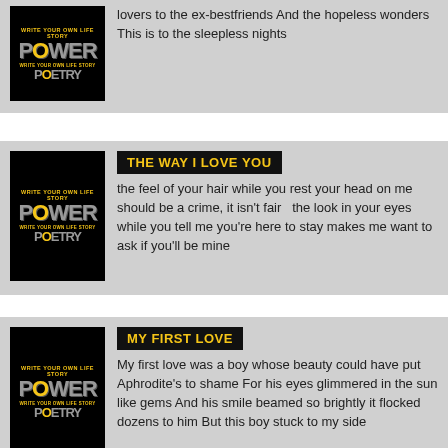[Figure (illustration): Power Poetry logo on black background - first card]
lovers to the ex-bestfriends And the hopeless wonders  This is to the sleepless nights
[Figure (illustration): Power Poetry logo on black background - second card]
THE WAY I LOVE YOU
the feel of your hair while you rest your head on me should be a crime, it isn't fair   the look in your eyes while you tell me you're here to stay makes me want to ask if you'll be mine
[Figure (illustration): Power Poetry logo on black background - third card]
MY FIRST LOVE
My first love was a boy whose beauty could have put Aphrodite's to shame For his eyes glimmered in the sun like gems And his smile beamed so brightly it flocked dozens to him But this boy stuck to my side